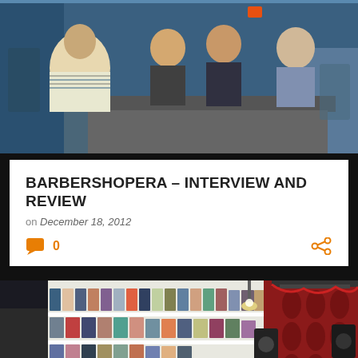[Figure (photo): Group of people sitting at a table or chairs in what appears to be a studio or classroom setting]
BARBERSHOPERA – INTERVIEW AND REVIEW
on December 18, 2012
0
[Figure (photo): Interior of a record shop or music venue with vinyl records displayed on white shelves on the left, and a red damask-patterned wall with speakers on stands on the right]